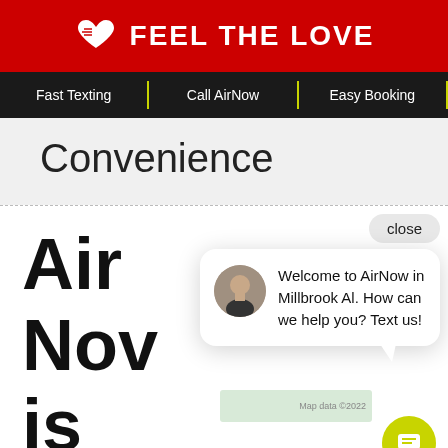FEEL THE LOVE
Fast Texting | Call AirNow | Easy Booking
Convenience
Air
Now
is
great
[Figure (screenshot): Chat popup with avatar showing message: Welcome to AirNow in Millbrook Al. How can we help you? Text us!, with a close button and lime green chat icon button]
close
Welcome to AirNow in Millbrook Al. How can we help you? Text us!